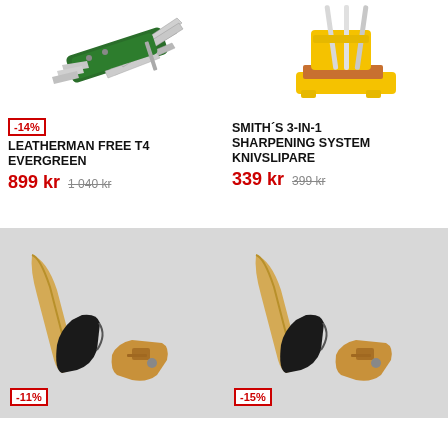[Figure (photo): Leatherman Free T4 Evergreen multi-tool with green handle, open showing multiple blades and tools]
-14%
LEATHERMAN FREE T4 EVERGREEN
899 kr   1 040 kr
[Figure (photo): Smith's 3-in-1 Sharpening System knife sharpener in yellow plastic with multiple sharpening rods]
SMITH´S 3-IN-1 SHARPENING SYSTEM KNIVSLIPARE
339 kr   399 kr
[Figure (photo): Axe with wooden handle and black head, with leather sheath, on gray background, -11% badge]
-11%
[Figure (photo): Axe with wooden handle and black head, with leather sheath, on gray background, -15% badge]
-15%